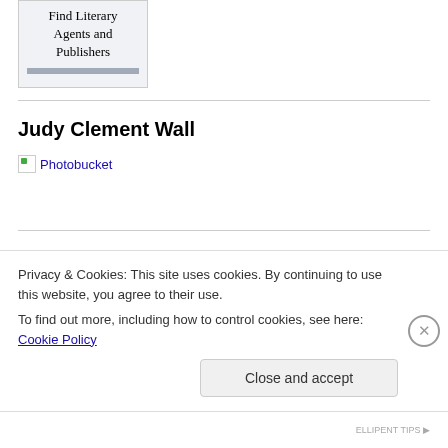[Figure (logo): Logo box with text 'Find Literary Agents and Publishers' with a gray-blue bar at the bottom]
Judy Clement Wall
[Figure (other): Broken image placeholder linking to Photobucket]
award
[Figure (photo): Dark photo with pink element visible, partially cut off]
Privacy & Cookies: This site uses cookies. By continuing to use this website, you agree to their use.
To find out more, including how to control cookies, see here: Cookie Policy
Close and accept